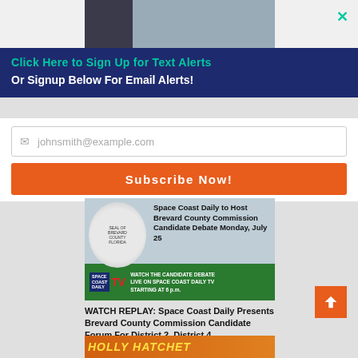[Figure (photo): Top advertisement with photo of a man in suit on the left and event photo on the right, with a cyan X close button]
Click Here to Sign Up for Text Alerts
Or Signup Below For Email Alerts!
johnsmith@example.com
Subscribe Now!
[Figure (photo): Space Coast Daily article image showing Brevard County seal and text: Space Coast Daily to Host Brevard County Commission Candidate Debate Monday, July 25, with Space Coast Daily TV banner below]
WATCH REPLAY: Space Coast Daily Presents Brevard County Commission Candidate Forum For District 2, District 4
[Figure (photo): Partial bottom image showing Holly Hatchet logo in orange/yellow text]